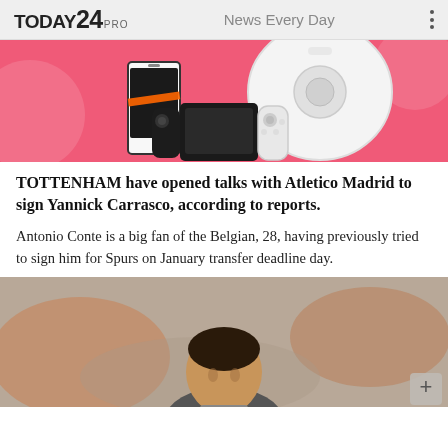TODAY24 PRO  News Every Day
[Figure (photo): Advertisement banner with pink background showing a robot vacuum cleaner, a white/black smartphone, and a Nintendo Switch controller]
TOTTENHAM have opened talks with Atletico Madrid to sign Yannick Carrasco, according to reports.
Antonio Conte is a big fan of the Belgian, 28, having previously tried to sign him for Spurs on January transfer deadline day.
[Figure (photo): Partially visible photo of a football player (Yannick Carrasco) from the shoulders up, with blurred crowd background]